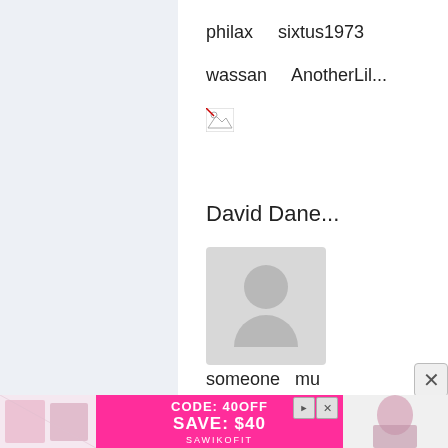philax    sixtus1973
wassan    AnotherLil...
[Figure (photo): Broken image placeholder icon]
David Dane...
[Figure (photo): Default user avatar placeholder - grey circle and body silhouette on grey background]
someone  mu
[Figure (photo): Advertisement banner: CODE: 40OFF SAVE: $40 SAWIKOFIT with fashion images on left and right]